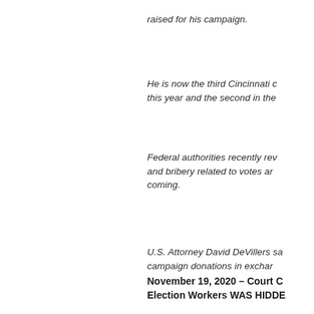raised for his campaign.
He is now the third Cincinnati c... this year and the second in the...
Federal authorities recently rev... and bribery related to votes an... coming.
U.S. Attorney David DeVillers sa... campaign donations in exchar...
November 19, 2020 – Court C... Election Workers WAS HIDDE...